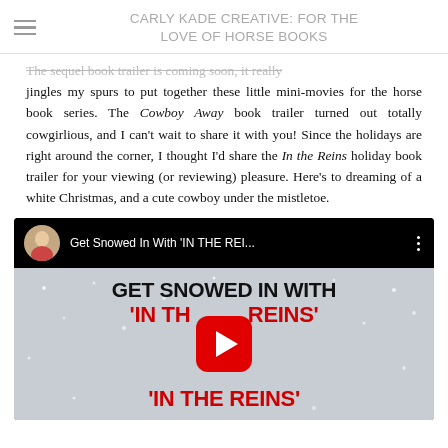CARLY KADE CREATIVE: FOR THE LOVE OF HORSE BOOKS
The sequel book trailer is coming soon, it really jingles my spurs to put together these little mini-movies for the horse book series. The Cowboy Away book trailer turned out totally cowgirlious, and I can't wait to share it with you! Since the holidays are right around the corner, I thought I'd share the In the Reins holiday book trailer for your viewing (or reviewing) pleasure. Here's to dreaming of a white Christmas, and a cute cowboy under the mistletoe.
[Figure (screenshot): YouTube video embed showing 'Get Snowed In With IN THE REI...' with thumbnail showing text 'GET SNOWED IN WITH IN THE REINS' and a YouTube play button overlay. The thumbnail shows a snowy/grey background with black bold text and red text for the book title.]